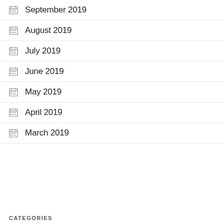September 2019
August 2019
July 2019
June 2019
May 2019
April 2019
March 2019
CATEGORIES